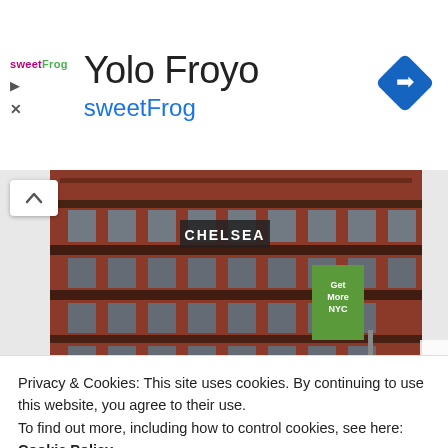[Figure (screenshot): Advertisement banner for Yolo Froyo / sweetFrog frozen yogurt. Shows the sweetFrog logo on the left, 'Yolo Froyo' as the title, 'sweetFrog' in blue as subtitle, and a blue navigation/directions diamond icon on the right.]
[Figure (photo): Photograph of the Chelsea Hotel building in New York City. A large red-brick multi-story building with ornate iron balconies. Street level shows shops including El Quijote restaurant with red and white striped awning. A green banner reads 'Get More NYC'.]
Privacy & Cookies: This site uses cookies. By continuing to use this website, you agree to their use.
To find out more, including how to control cookies, see here:
Cookie Policy
Close and accept
a birth place of creative modern art and